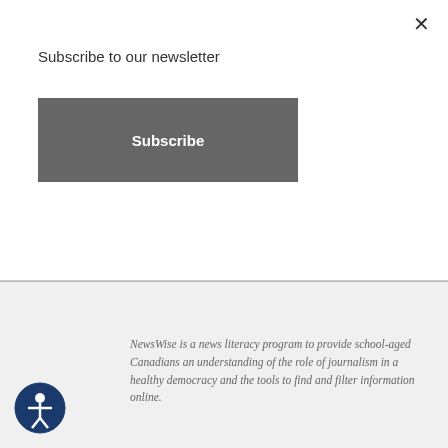Subscribe to our newsletter
Subscribe
[Figure (photo): Photo of a laptop on a desk with outdoor background, partially overlaid with a black strip at the bottom]
NewsWise is a news literacy program to provide school-aged Canadians an understanding of the role of journalism in a healthy democracy and the tools to find and filter information online.